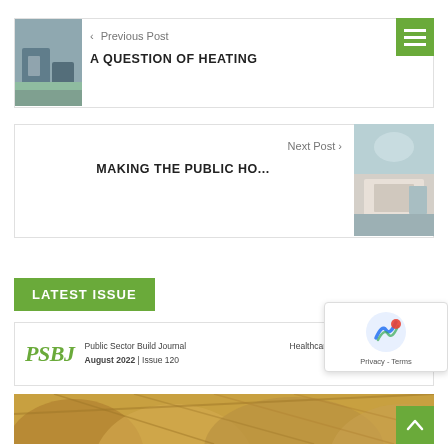[Figure (photo): Thumbnail image of a heat pump unit outside a modern building, used as Previous Post thumbnail]
< Previous Post
A QUESTION OF HEATING
[Figure (photo): Hamburger menu icon on green background]
Next Post >
MAKING THE PUBLIC HO...
[Figure (photo): Thumbnail image of a bathroom interior with skylight, used as Next Post thumbnail]
LATEST ISSUE
[Figure (screenshot): PSBJ magazine cover header showing Public Sector Build Journal, Healthcare | Education | Housing, August 2022 | Issue 120, psbjmag...]
[Figure (photo): Bottom portion of PSBJ magazine cover showing wooden architectural structure (curved timber roof/ceiling)]